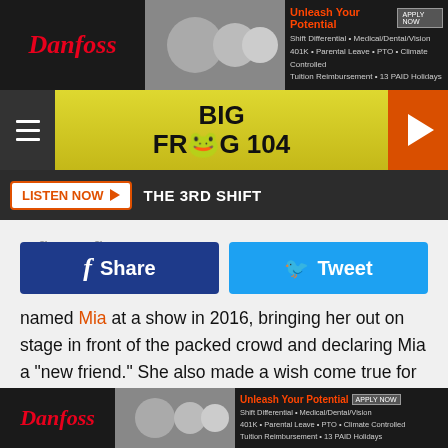[Figure (other): Danfoss advertisement banner top: Unleash Your Potential, Shift Differential, Medical/Dental/Vision, 401K, Parental Leave, PTO, Climate Controlled, Tuition Reimbursement, 13 PAID Holidays]
[Figure (logo): Big Frog 104 radio station navigation bar with hamburger menu and play button]
[Figure (other): Listen Now button with Play triangle and THE 3RD SHIFT text on dark bar]
[Figure (other): Facebook Share button and Twitter Tweet button]
named Mia at a show in 2016, bringing her out on stage in front of the packed crowd and declaring Mia a "new friend." She also made a wish come true for 17-year-old Mykal, who got to perform with Ballerini, her idol, at the Grand Ole Opry in 2015. Ballerini's 2017 album, Unapologetically, is set for release on Nov. 3.
[Figure (other): Danfoss advertisement banner bottom: Unleash Your Potential, Shift Differential, Medical/Dental/Vision, 401K, Parental Leave, PTO, Climate Controlled, Tuition Reimbursement, 13 PAID Holidays]